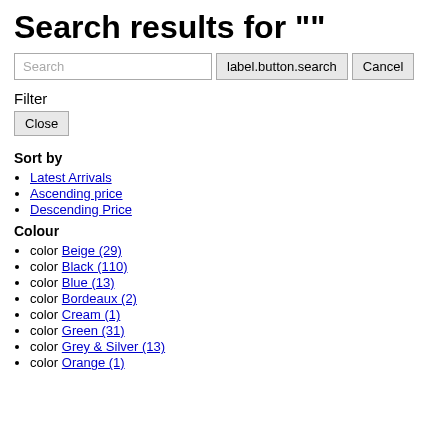Search results for ""
Search | label.button.search | Cancel
Filter
Close
Sort by
Latest Arrivals
Ascending price
Descending Price
Colour
color Beige (29)
color Black (110)
color Blue (13)
color Bordeaux (2)
color Cream (1)
color Green (31)
color Grey & Silver (13)
color Orange (1)